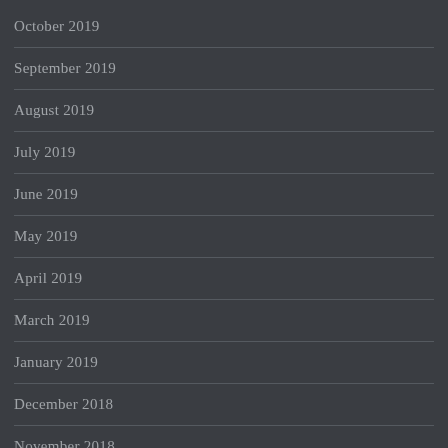October 2019
September 2019
August 2019
July 2019
June 2019
May 2019
April 2019
March 2019
January 2019
December 2018
November 2018
October 2018